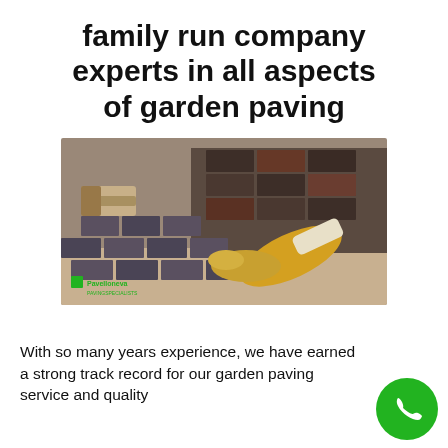family run company experts in all aspects of garden paving
[Figure (photo): A person wearing yellow work gloves laying dark brick/cobblestone paving stones on a garden path. The bricks are stacked and being placed by hand.]
With so many years experience, we have earned a strong track record for our garden paving service and quality